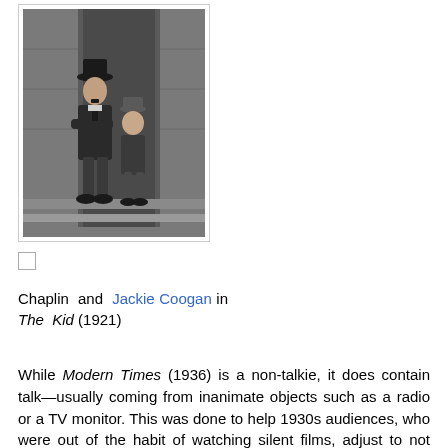[Figure (photo): Black and white photograph of Charlie Chaplin and Jackie Coogan sitting in a doorway, from the film The Kid (1921)]
Chaplin and Jackie Coogan in The Kid (1921)
While Modern Times (1936) is a non-talkie, it does contain talk—usually coming from inanimate objects such as a radio or a TV monitor. This was done to help 1930s audiences, who were out of the habit of watching silent films, adjust to not hearing dialogue. Modern Times was the first film where Chaplin's voice is heard (in the nonsense song at the end, which Chaplin both performed and wrote the nonsense lyrics